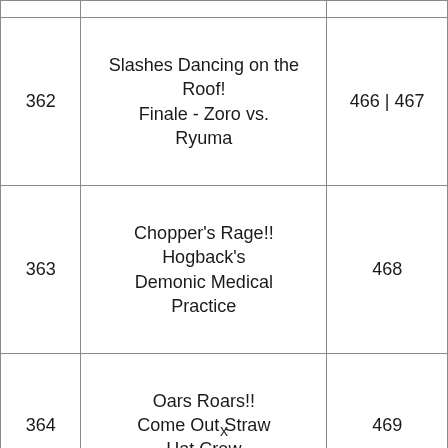| Episode | Title | Chapter(s) |
| --- | --- | --- |
| 362 | Slashes Dancing on the Roof! Finale - Zoro vs. Ryuma | 466 | 467 |
| 363 | Chopper's Rage!! Hogback's Demonic Medical Practice | 468 |
| 364 | Oars Roars!! Come Out Straw Hat Crew | 469 |
| 365 | The Enemy is Luffy!! The Strongest Zombie... | 470 |
x